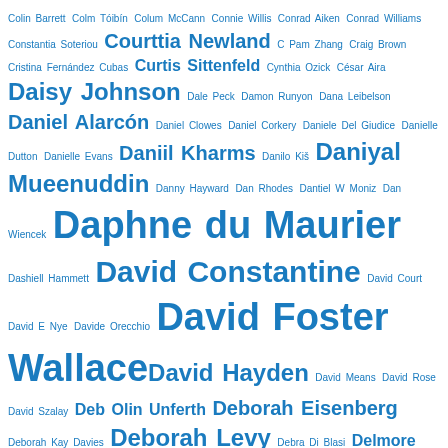Colin Barrett Colm Tóibín Colum McCann Connie Willis Conrad Aiken Conrad Williams Constantia Soteriou Courttia Newland C Pam Zhang Craig Brown Cristina Fernández Cubas Curtis Sittenfeld Cynthia Ozick César Aira Daisy Johnson Dale Peck Damon Runyon Dana Leibelson Daniel Alarcón Daniel Clowes Daniel Corkery Daniele Del Giudice Danielle Dutton Danielle Evans Daniil Kharms Danilo Kiš Daniyal Mueenuddin Danny Hayward Dan Rhodes Dantiel W Moniz Dan Wiencek Daphne du Maurier Dashiell Hammett David Constantine David Court David E Nye Davide Orecchio David Foster Wallace David Hayden David Means David Rose David Szalay Deb Olin Unferth Deborah Eisenberg Deborah Kay Davies Deborah Levy Debra Di Blasi Delmore Schwartz Denis Johnson Dennis Bock Dermot Healy DH Lawrence Diane Di Prima Diane Williams Dianne Reeves Diego Marani Dima Alzayat Dino Buzzati Dodie Bellamy Doireann Ni Ghríofa Dolly Alderton Donald Antrim Donald Appleyard Donald Barthelme Donal Ryan Don DeLillo